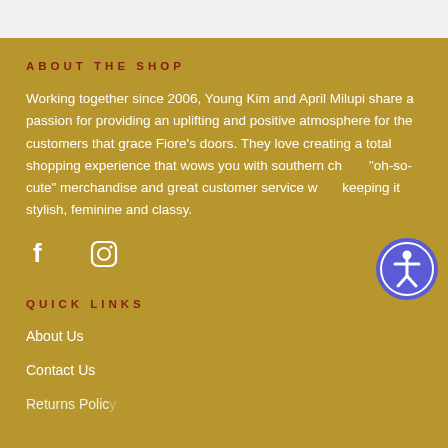ABOUT THE SHOP
Working together since 2006, Young Kim and April Milupi share a passion for providing an uplifting and positive atmosphere for the customers that grace Fiore's doors. They love creating a total shopping experience that wows you with southern charm, "oh-so-cute" merchandise and great customer service while keeping it stylish, feminine and classy.
[Figure (illustration): Social media icons: Facebook (f) and Instagram (circle with lens shape)]
[Figure (illustration): Accessibility button - circular purple badge with person icon]
QUICK LINKS
About Us
Contact Us
Returns Policy (partial)